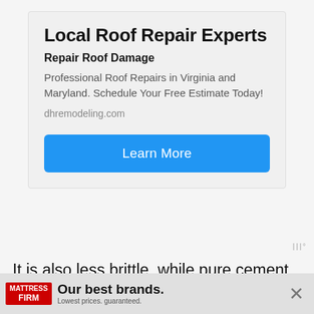[Figure (screenshot): Advertisement card for Local Roof Repair Experts (dhremodeling.com) with a blue 'Learn More' button]
It is also less brittle, while pure cement board is prone to snapping, particularly when you are cutting it into thin pieces.
However, HardieBacker is slightly less durable th...
[Figure (screenshot): Bottom banner advertisement for Mattress Firm: 'Our best brands. Lowest prices. guaranteed.']